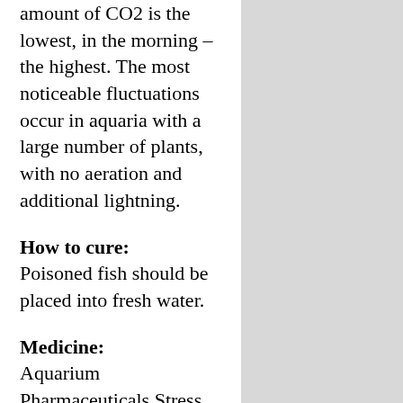amount of CO2 is the lowest, in the morning – the highest. The most noticeable fluctuations occur in aquaria with a large number of plants, with no aeration and additional lightning.
How to cure:
Poisoned fish should be placed into fresh water.
Medicine:
Aquarium Pharmaceuticals Stress Coat
Prevention:
Prevent the build-